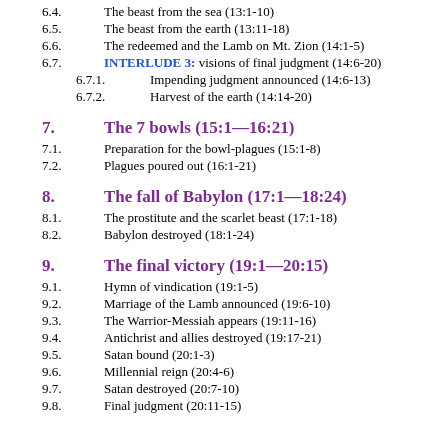6.4. The beast from the sea (13:1-10)
6.5. The beast from the earth (13:11-18)
6.6. The redeemed and the Lamb on Mt. Zion (14:1-5)
6.7. INTERLUDE 3: visions of final judgment (14:6-20)
6.7.1. Impending judgment announced (14:6-13)
6.7.2. Harvest of the earth (14:14-20)
7. The 7 bowls (15:1—16:21)
7.1. Preparation for the bowl-plagues (15:1-8)
7.2. Plagues poured out (16:1-21)
8. The fall of Babylon (17:1—18:24)
8.1. The prostitute and the scarlet beast (17:1-18)
8.2. Babylon destroyed (18:1-24)
9. The final victory (19:1—20:15)
9.1. Hymn of vindication (19:1-5)
9.2. Marriage of the Lamb announced (19:6-10)
9.3. The Warrior-Messiah appears (19:11-16)
9.4. Antichrist and allies destroyed (19:17-21)
9.5. Satan bound (20:1-3)
9.6. Millennial reign (20:4-6)
9.7. Satan destroyed (20:7-10)
9.8. Final judgment (20:11-15)